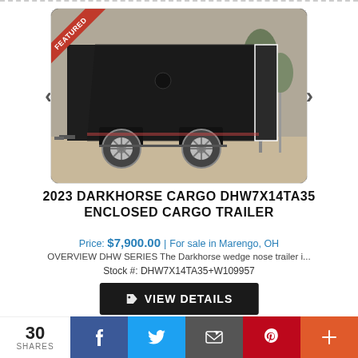[Figure (photo): Black enclosed cargo trailer (2023 Darkhorse Cargo DHW7X14TA35) with dual axle, wedge nose, silver wheels, shown parked outside. A red 'FEATURED' banner in top-left corner of the image.]
2023 DARKHORSE CARGO DHW7X14TA35 ENCLOSED CARGO TRAILER
Price: $7,900.00 | For sale in Marengo, OH
OVERVIEW DHW SERIES The Darkhorse wedge nose trailer i...
Stock #: DHW7X14TA35+W109957
VIEW DETAILS
30 SHARES